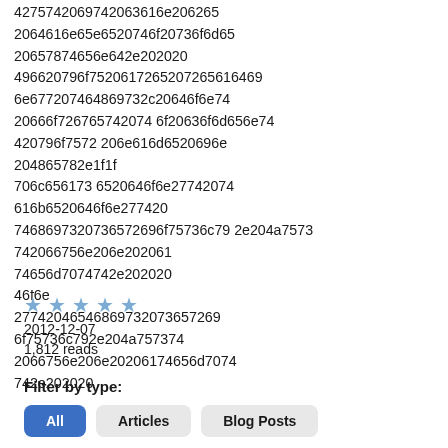427574206974206361 6e206265202064616e e6520746f20736f6d652 0657874656e642e202020 496620796f7520617265 2072656164696e677207 46869732c20646f6e7420 666f72676574420746f20 636f6d656e74420796f75 72206e616d6520696e 204865782e1f1f 706c6561736520646f6e6e 27742074616265202074686 99732073657269657573206 c792e204a7573742066756e 206e20206174656d7074 742e202020
2012-12-07
1,812 reads
Filter by type: